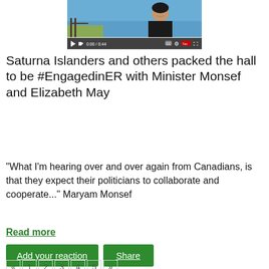[Figure (screenshot): Embedded video thumbnail showing a woman smiling outdoors near a waterfront with a video player bar showing 0:00 / 0:44 and YouTube controls]
Saturna Islanders and others packed the hall to be #EngagedinER with Minister Monsef and Elizabeth May
"What I'm hearing over and over again from Canadians, is that they expect their politicians to collaborate and cooperate..." Maryam Monsef
Read more
Add your reaction
Share
« 1 2 3 4 5 »